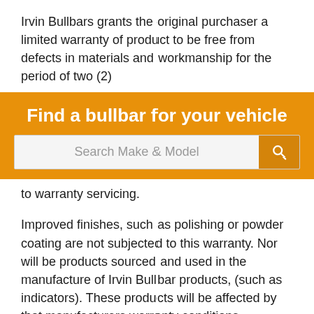Irvin Bullbars grants the original purchaser a limited warranty of product to be free from defects in materials and workmanship for the period of two (2)
[Figure (screenshot): Orange banner with 'Find a bullbar for your vehicle' heading and a search bar with 'Search Make & Model' placeholder text and a search button]
to warranty servicing.
Improved finishes, such as polishing or powder coating are not subjected to this warranty. Nor will be products sourced and used in the manufacture of Irvin Bullbar products, (such as indicators). These products will be affected by that manufacturers warranty conditions.
The maximum liability to Irvin Bullbars under this